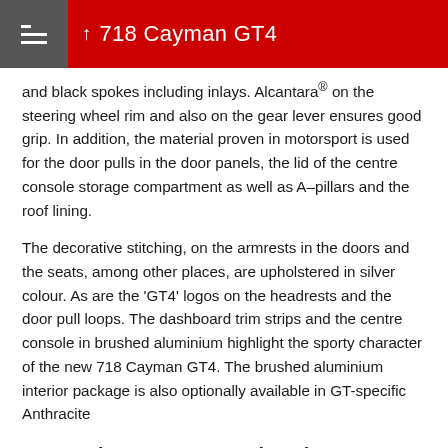718 Cayman GT4
and black spokes including inlays. Alcantara® on the steering wheel rim and also on the gear lever ensures good grip. In addition, the material proven in motorsport is used for the door pulls in the door panels, the lid of the centre console storage compartment as well as A–pillars and the roof lining.
The decorative stitching, on the armrests in the doors and the seats, among other places, are upholstered in silver colour. As are the 'GT4' logos on the headrests and the door pull loops. The dashboard trim strips and the centre console in brushed aluminium highlight the sporty character of the new 718 Cayman GT4. The brushed aluminium interior package is also optionally available in GT-specific Anthracite
Porsche Communication Management
(PCM)